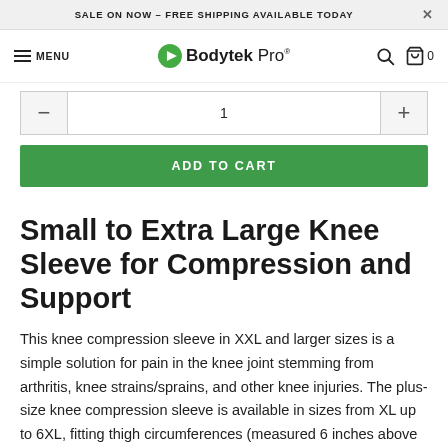SALE ON NOW – FREE SHIPPING AVAILABLE TODAY
[Figure (screenshot): Bodytek Pro navigation bar with hamburger menu, logo, search and cart icons]
[Figure (screenshot): Quantity selector with minus button showing 1 and plus button]
[Figure (screenshot): ADD TO CART green button]
Small to Extra Large Knee Sleeve for Compression and Support
This knee compression sleeve in XXL and larger sizes is a simple solution for pain in the knee joint stemming from arthritis, knee strains/sprains, and other knee injuries. The plus-size knee compression sleeve is available in sizes from XL up to 6XL, fitting thigh circumferences (measured 6 inches above the kneecap) up to 33 inches. See more plus-size orthotics